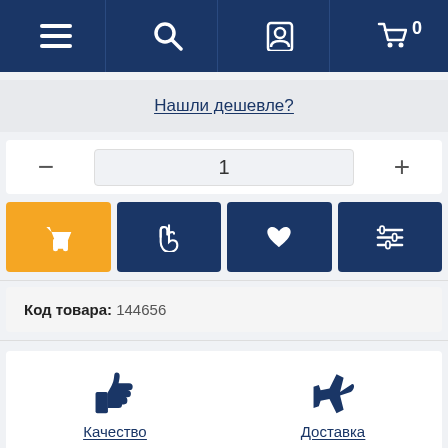Navigation bar with menu, search, account, and cart (0)
Нашли дешевле?
- 1 +
[Figure (screenshot): Four action buttons: orange shopping basket, navy pointer/hand, navy heart, navy filter/settings]
Код товара: 144656
[Figure (infographic): Four feature icons in a 2x2 grid: thumbs up (Качество), airplane (Доставка), money bill (Оплата), refresh arrows (Обмен)]